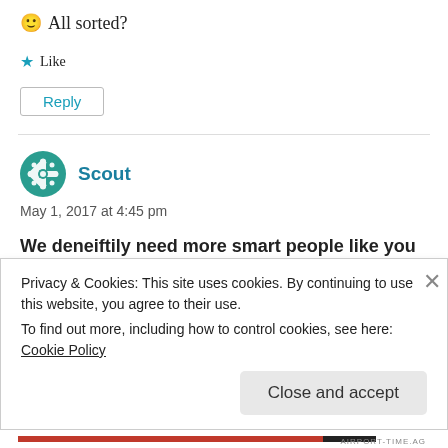🙂 All sorted?
★ Like
Reply
Scout
May 1, 2017 at 4:45 pm
We deneiftily need more smart people like you
Privacy & Cookies: This site uses cookies. By continuing to use this website, you agree to their use.
To find out more, including how to control cookies, see here:
Cookie Policy
Close and accept